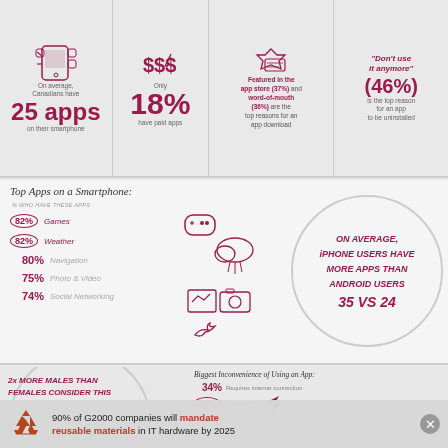[Figure (infographic): Top section infographic with 4 panels: (1) On average, Canadians have 25 apps on their smartphone; (2) Only 18% have paid apps; (3) Featured in the app store (37%) and word-of-mouth (36%) are top reasons for an app download; (4) Don't use it anymore (46%) is the top reason for an app to be uninstalled.]
Top Apps on a Smartphone:
% who have these apps
82% Games
82% Weather
80% Navigation
75% Photo & Video
74% Social Networking
[Figure (infographic): Circle graphic: On average, iPhone users have more apps than Android users 35 vs 24]
[Figure (infographic): Bottom left: circle with text '2x more males than females consider this']
Biggest Inconvenience of Using an App:
34% Requires internet connection
35% Drains battery
90% of G2000 companies will mandate reusable materials in IT hardware by 2025